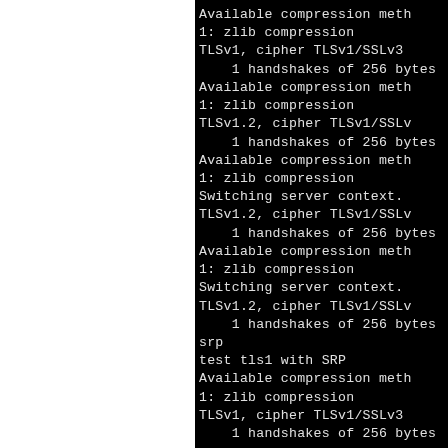[Figure (screenshot): Terminal/console output showing TLS/SSL handshake test results with compression methods, cipher info, and SRP test output. Left portion of page is white, right portion is a black terminal.]